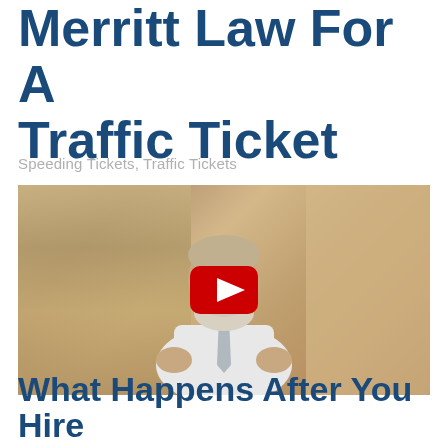Merritt Law For A Traffic Ticket
Speeding Tickets, Traffic Tickets
[Figure (screenshot): YouTube video thumbnail showing an older man with a long white beard wearing a white dress shirt and tie, standing in front of a curtain. A red YouTube play button is overlaid in the center of the image.]
What Happens After You Hire